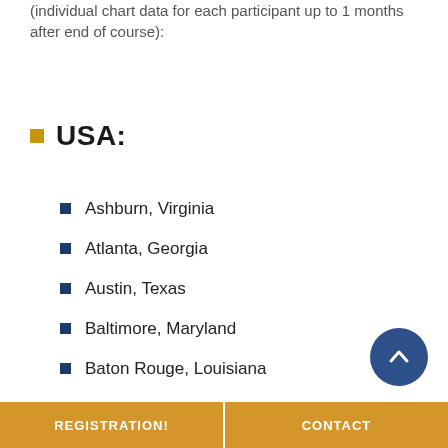(individual chart data for each participant up to 1 months after end of course):
USA:
Ashburn, Virginia
Atlanta, Georgia
Austin, Texas
Baltimore, Maryland
Baton Rouge, Louisiana
Bend, Oregon
Bismarck, North Dakota
REGISTRATION!   CONTACT